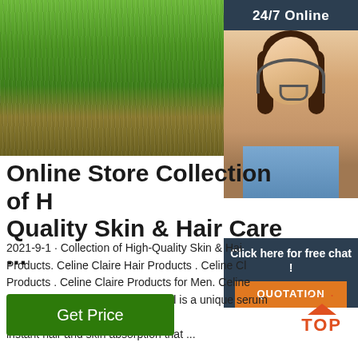[Figure (photo): Green grass field photo in upper left area]
[Figure (photo): 24/7 Online customer service panel with woman wearing headset on dark blue-gray background, with 'Click here for free chat!' text and orange QUOTATION button]
Online Store Collection of High Quality Skin & Hair Care ...
2021-9-1 · Collection of High-Quality Skin & Hair Care Products. Celine Claire Hair Products . Celine Claire Products . Celine Claire Products for Men. Celine Cosmetic Argan Oil. Our Argan Oil is a unique serum with instant hair and skin absorption that ...
[Figure (other): Orange TOP button with triangle/caret icon and dots above]
Get Price